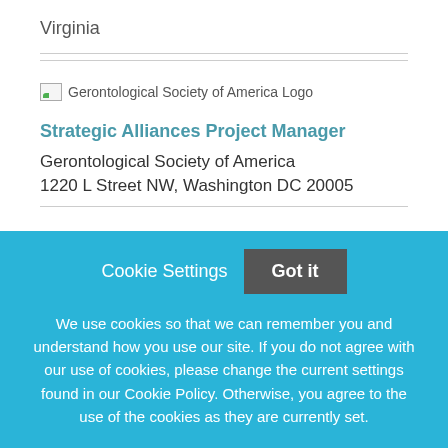Virginia
[Figure (logo): Gerontological Society of America Logo]
Strategic Alliances Project Manager
Gerontological Society of America
1220 L Street NW, Washington DC 20005
Cookie Settings
Got it
We use cookies so that we can remember you and understand how you use our site. If you do not agree with our use of cookies, please change the current settings found in our Cookie Policy. Otherwise, you agree to the use of the cookies as they are currently set.